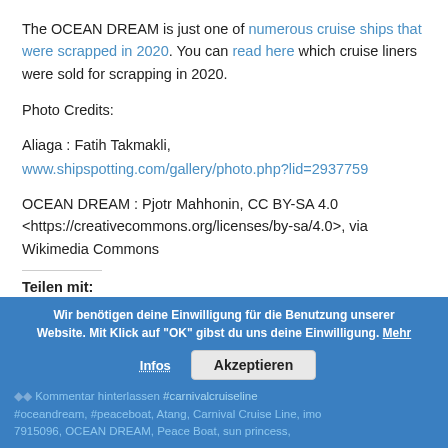The OCEAN DREAM is just one of numerous cruise ships that were scrapped in 2020. You can read here which cruise liners were sold for scrapping in 2020.
Photo Credits:
Aliaga : Fatih Takmakli,
www.shipspotting.com/gallery/photo.php?lid=2937759
OCEAN DREAM : Pjotr Mahhonin, CC BY-SA 4.0 <https://creativecommons.org/licenses/by-sa/4.0>, via Wikimedia Commons
Teilen mit:
[Figure (other): Twitter and Facebook social sharing icons (circular blue buttons)]
Wir benötigen deine Einwilligung für die Benutzung unserer Website. Mit Klick auf "OK" gibst du uns deine Einwilligung. Mehr
Kommentar hinterlassen, #carnivalcruiseline #oceandream, #peaceboat, Atang, Carnival Cruise Line, imo 7915096, OCEAN DREAM, Peace Boat, sun princess,